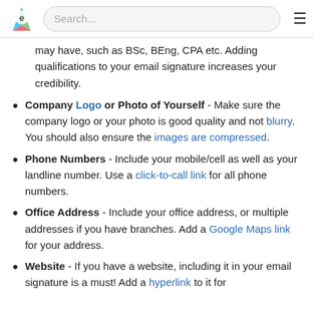Search...
may have, such as BSc, BEng, CPA etc. Adding qualifications to your email signature increases your credibility.
Company Logo or Photo of Yourself - Make sure the company logo or your photo is good quality and not blurry. You should also ensure the images are compressed.
Phone Numbers - Include your mobile/cell as well as your landline number. Use a click-to-call link for all phone numbers.
Office Address - Include your office address, or multiple addresses if you have branches. Add a Google Maps link for your address.
Website - If you have a website, including it in your email signature is a must! Add a hyperlink to it for